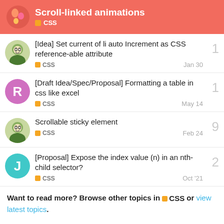Scroll-linked animations — CSS
[Idea] Set current of li auto Increment as CSS reference-able attribute — CSS — Jan 30 — 1 reply
[Draft Idea/Spec/Proposal] Formatting a table in css like excel — CSS — May 14 — 1 reply
Scrollable sticky element — CSS — Feb 24 — 9 replies
[Proposal] Expose the index value (n) in an nth-child selector? — CSS — Oct '21 — 2 replies
Want to read more? Browse other topics in CSS or view latest topics.